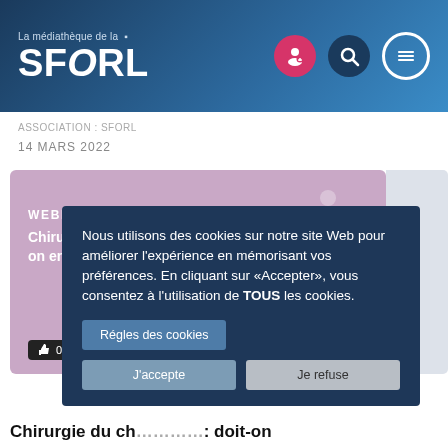[Figure (screenshot): SFORL website header with logo 'La médiathèque de la SFORL', user/lock icon (pink), search icon (dark blue), and menu icon (white outline) on a blue gradient background]
Association : Sforl
14 MARS 2022
[Figure (screenshot): Webinar card with purple/mauve background showing 'WEBINAR' badge, partial title 'Chirurgie d... on encore', a person icon, and a like/thumbs-up counter showing 0]
Nous utilisons des cookies sur notre site Web pour améliorer l'expérience en mémorisant vos préférences. En cliquant sur «Accepter», vous consentez à l'utilisation de TOUS les cookies.
Régles des cookies
J'accepte
Je refuse
Chirurgie du ch... : doit-on